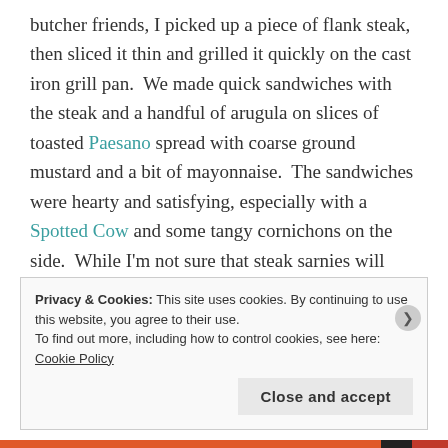butcher friends, I picked up a piece of flank steak, then sliced it thin and grilled it quickly on the cast iron grill pan.  We made quick sandwiches with the steak and a handful of arugula on slices of toasted Paesano spread with coarse ground mustard and a bit of mayonnaise.  The sandwiches were hearty and satisfying, especially with a Spotted Cow and some tangy cornichons on the side.  While I'm not sure that steak sarnies will enter our regular meal rotation, the simplicity of this dinner reminded me that a good sandwich is a beautiful thing.
Privacy & Cookies: This site uses cookies. By continuing to use this website, you agree to their use.
To find out more, including how to control cookies, see here: Cookie Policy